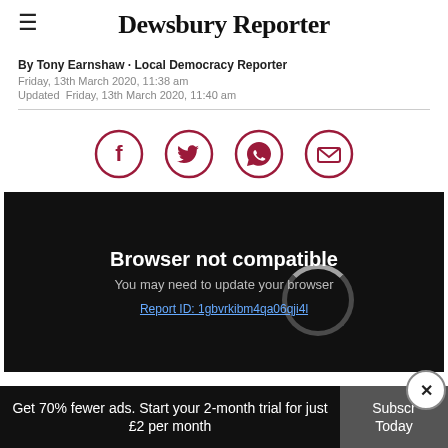Dewsbury Reporter
By Tony Earnshaw · Local Democracy Reporter
Friday, 13th March 2020, 11:38 am
Updated  Friday, 13th March 2020, 11:40 am
[Figure (infographic): Social share buttons: Facebook, Twitter, WhatsApp, Email — dark red circle outlines with icons]
[Figure (screenshot): Video player area with black background, spinning loader, 'Browser not compatible' message, 'You may need to update your browser' subtitle, and Report ID link: 1gbvrkibm4qa06qji4l]
Get 70% fewer ads. Start your 2-month trial for just £2 per month
Subscribe Today